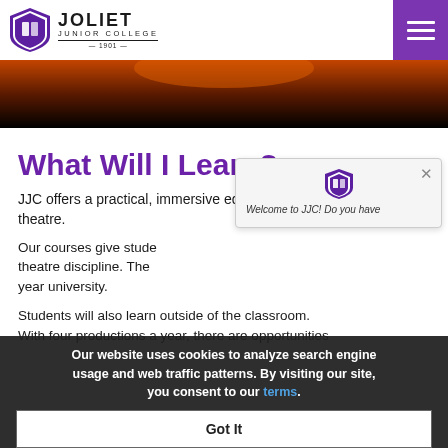Joliet Junior College — Navigation header with logo and hamburger menu
[Figure (photo): Dark hero image showing warm orange-red lighting fading to black, partial view of theatre scene]
What Will I Learn?
JJC offers a practical, immersive education in theatre.
Our courses give students the opportunity to gain knowledge in each theatre discipline. The programme prepares students to transfer to a four-year university.
Students will also learn outside of the classroom. With four productions a year, there are opportunities
[Figure (screenshot): Chat popup from JJC website: Welcome to JJC! Do you have a question? with close X button and JJC shield logo]
Our website uses cookies to analyze search engine usage and web traffic patterns. By visiting our site, you consent to our terms.
Got It